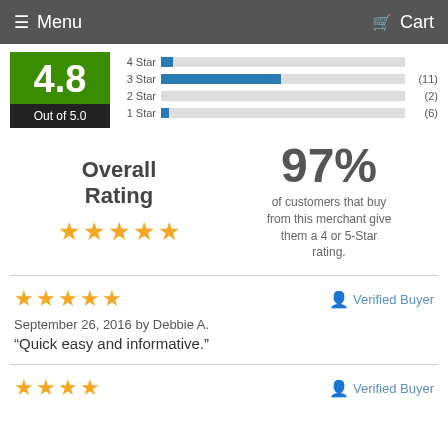Menu  Cart
[Figure (bar-chart): 4.8 Out of 5.0 rating breakdown]
Overall Rating
97% of customers that buy from this merchant give them a 4 or 5-Star rating.
★★★★★
September 26, 2016 by Debbie A.
“Quick easy and informative.”
Verified Buyer